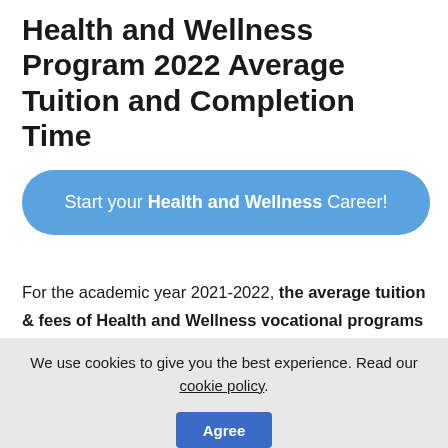Health and Wellness Program 2022 Average Tuition and Completion Time
[Figure (other): Blue rounded rectangle button with text: Start your Health and Wellness Career!]
For the academic year 2021-2022, the average tuition & fees of Health and Wellness vocational programs is $2,150. The amount is calculated based on the tuition of the Health and Wellness program offering trade schools and it may differ from other programs at those schools. On average, the length of the
We use cookies to give you the best experience. Read our cookie policy.